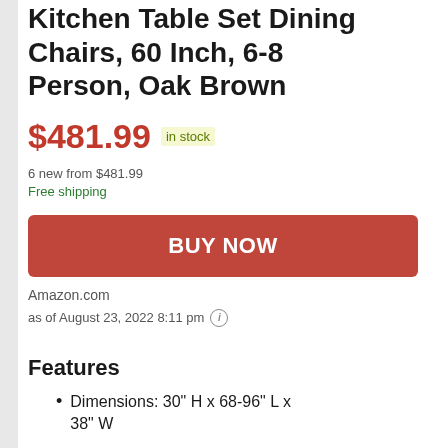Kitchen Table Set Dining Chairs, 60 Inch, 6-8 Person, Oak Brown
$481.99  in stock
6 new from $481.99
Free shipping
BUY NOW
Amazon.com
as of August 23, 2022 8:11 pm
Features
Dimensions: 30" H x 68-96" L x 38" W